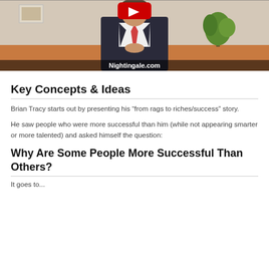[Figure (screenshot): Video screenshot of a man in a dark suit and red tie standing in front of a room with a plant. A red play button is visible at the top center. The watermark 'Nightingale.com' appears at the bottom of the video.]
Key Concepts & Ideas
Brian Tracy starts out by presenting his “from rags to riches/success” story.
He saw people who were more successful than him (while not appearing smarter or more talented) and asked himself the question:
Why Are Some People More Successful Than Others?
It goes to...